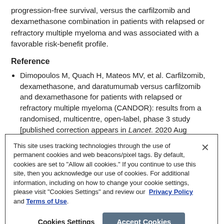progression-free survival, versus the carfilzomib and dexamethasone combination in patients with relapsed or refractory multiple myeloma and was associated with a favorable risk-benefit profile.
Reference
Dimopoulos M, Quach H, Mateos MV, et al. Carfilzomib, dexamethasone, and daratumumab versus carfilzomib and dexamethasone for patients with relapsed or refractory multiple myeloma (CANDOR): results from a randomised, multicentre, open-label, phase 3 study [published correction appears in Lancet. 2020 Aug 15;396(10249):466]. Lancet. 2020;396(10245):186-97. DOI: https://doi.org/10.1016/S0140-6736(20)30734-0
This site uses tracking technologies through the use of permanent cookies and web beacons/pixel tags. By default, cookies are set to "Allow all cookies." If you continue to use this site, then you acknowledge our use of cookies. For additional information, including on how to change your cookie settings, please visit "Cookies Settings" and review our Privacy Policy and Terms of Use.